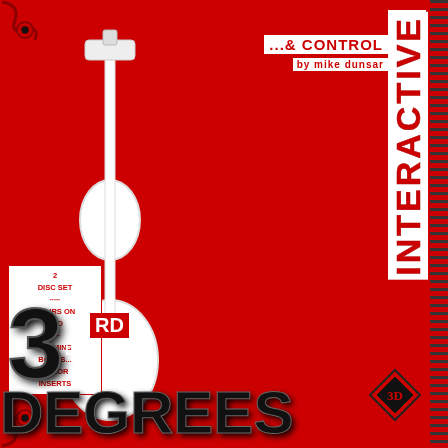[Figure (photo): DVD cover art for an adult interactive DVD. Red background with a woman in maid outfit and fishnet stockings. Large vertical stylized text 'INTERACTIVE' on right side. Bottom shows '3rd Degree DVD' logo text. Left side shows disc set information text. Guitar shape graphic element on left.]